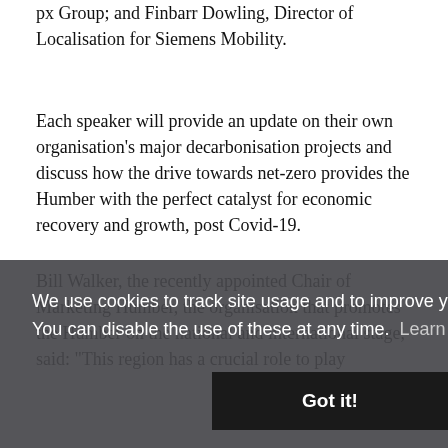px Group; and Finbarr Dowling, Director of Localisation for Siemens Mobility.
Each speaker will provide an update on their own organisation's major decarbonisation projects and discuss how the drive towards net-zero provides the Humber with the perfect catalyst for economic recovery and growth, post Covid-19.
Bill Walker, the recently appointed Chair of Marketing Humber, the organisation that promotes the Humber on the national and international stage, said: "This region has a crucial role to play
...ive, ...t this
...the Humber ...t of the levelling ...e become ...development ...inward investor interest from across the UK and overseas and we now
[Figure (screenshot): Cookie consent banner overlay with dark translucent background. Text reads: 'We use cookies to track site usage and to improve your experience. You can disable the use of these at any time. Learn more'. Below is a black 'Got it!' button.]